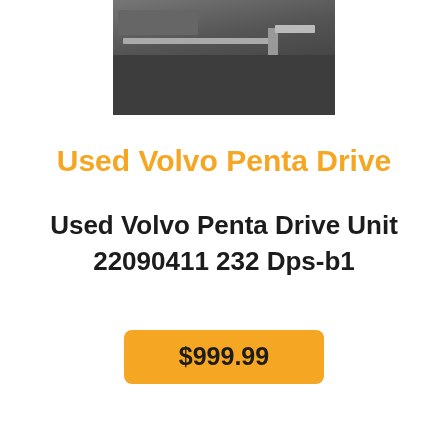[Figure (photo): Partial view of a mechanical/lathe machine part, dark metallic tones]
Used Volvo Penta Drive
Used Volvo Penta Drive Unit 22090411 232 Dps-b1
$999.99
[Figure (photo): White egg-shaped object, partially visible at bottom of page]